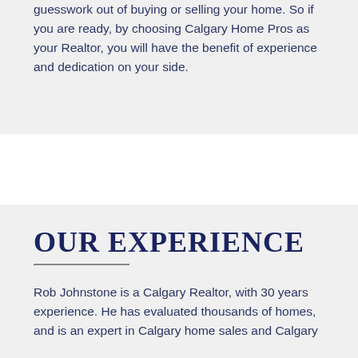guesswork out of buying or selling your home. So if you are ready, by choosing Calgary Home Pros as your Realtor, you will have the benefit of experience and dedication on your side.
OUR EXPERIENCE
Rob Johnstone is a Calgary Realtor, with 30 years experience. He has evaluated thousands of homes, and is an expert in Calgary home sales and Calgary